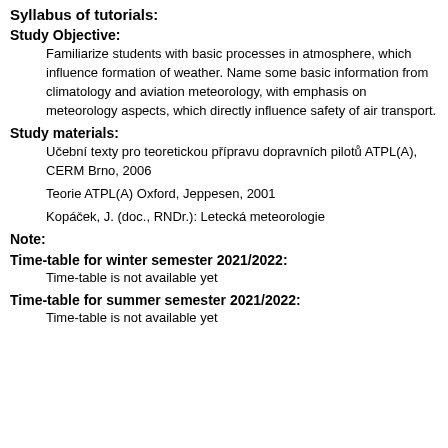Syllabus of tutorials:
Study Objective:
Familiarize students with basic processes in atmosphere, which influence formation of weather. Name some basic information from climatology and aviation meteorology, with emphasis on meteorology aspects, which directly influence safety of air transport.
Study materials:
Učební texty pro teoretickou přípravu dopravních pilotů ATPL(A), CERM Brno, 2006
Teorie ATPL(A) Oxford, Jeppesen, 2001
Kopáček, J. (doc., RNDr.): Letecká meteorologie
Note:
Time-table for winter semester 2021/2022:
Time-table is not available yet
Time-table for summer semester 2021/2022:
Time-table is not available yet